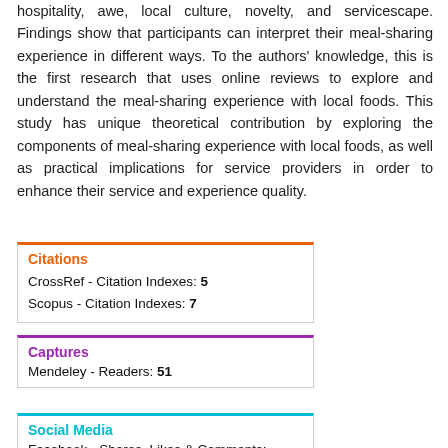hospitality, awe, local culture, novelty, and servicescape. Findings show that participants can interpret their meal-sharing experience in different ways. To the authors' knowledge, this is the first research that uses online reviews to explore and understand the meal-sharing experience with local foods. This study has unique theoretical contribution by exploring the components of meal-sharing experience with local foods, as well as practical implications for service providers in order to enhance their service and experience quality.
Citations
CrossRef - Citation Indexes: 5
Scopus - Citation Indexes: 7
Captures
Mendeley - Readers: 51
Social Media
Facebook - Shares, Likes & Comments: